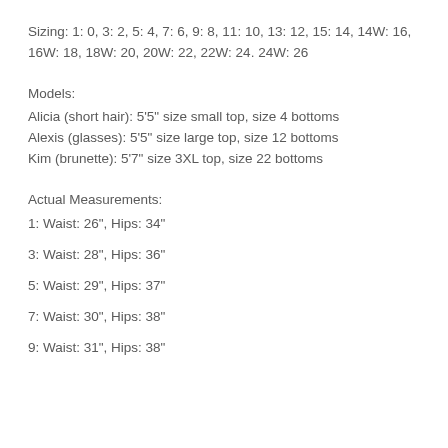Sizing: 1: 0, 3: 2, 5: 4, 7: 6, 9: 8, 11: 10, 13: 12, 15: 14, 14W: 16, 16W: 18, 18W: 20, 20W: 22, 22W: 24. 24W: 26
Models:
Alicia (short hair): 5'5" size small top, size 4 bottoms
Alexis (glasses): 5'5" size large top, size 12 bottoms
Kim (brunette): 5'7" size 3XL top, size 22 bottoms
Actual Measurements:
1: Waist: 26", Hips: 34"
3: Waist: 28", Hips: 36"
5: Waist: 29", Hips: 37"
7: Waist: 30", Hips: 38"
9: Waist: 31", Hips: 38"